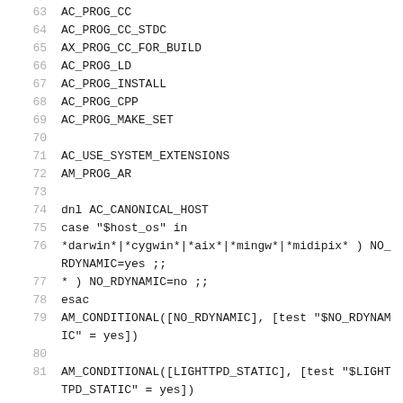63  AC_PROG_CC
64  AC_PROG_CC_STDC
65  AX_PROG_CC_FOR_BUILD
66  AC_PROG_LD
67  AC_PROG_INSTALL
68  AC_PROG_CPP
69  AC_PROG_MAKE_SET
70
71  AC_USE_SYSTEM_EXTENSIONS
72  AM_PROG_AR
73
74  dnl AC_CANONICAL_HOST
75  case "$host_os" in
76  *darwin*|*cygwin*|*aix*|*mingw*|*midipix* ) NO_RDYNAMIC=yes ;;
77  * ) NO_RDYNAMIC=no ;;
78  esac
79  AM_CONDITIONAL([NO_RDYNAMIC], [test "$NO_RDYNAMIC" = yes])
80
81  AM_CONDITIONAL([LIGHTTPD_STATIC], [test "$LIGHTTPD_STATIC" = yes])